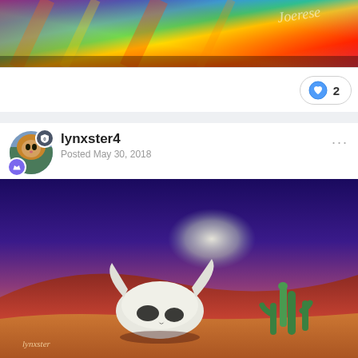[Figure (illustration): Colorful thermal/infrared landscape image banner with rainbow colors (blue, green, yellow, orange, red), with 'Joerese' text watermark in top right corner]
[Figure (illustration): Desert landscape digital art showing a white bull skull on red sand dunes, green cacti on the right, purple/blue sky with glowing moon, signed 'lynxster' in lower left]
2
lynxster4
Posted May 30, 2018